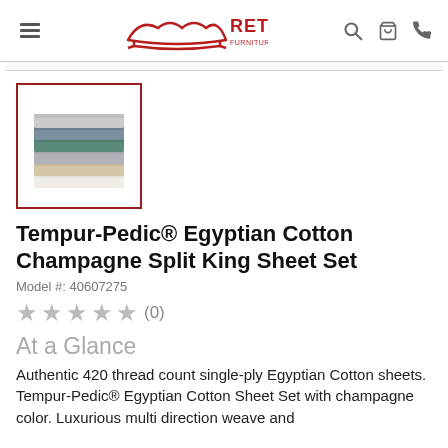Rettig Furniture & Mattress
[Figure (photo): Thumbnail image of folded sheet sets in multiple colors (beige, gray, teal/green) shown in a red-bordered box]
Tempur-Pedic® Egyptian Cotton Champagne Split King Sheet Set
Model #: 40607275
★★★★★ (0)
At a Glance
Authentic 420 thread count single-ply Egyptian Cotton sheets. Tempur-Pedic® Egyptian Cotton Sheet Set with champagne color. Luxurious multi direction weave and